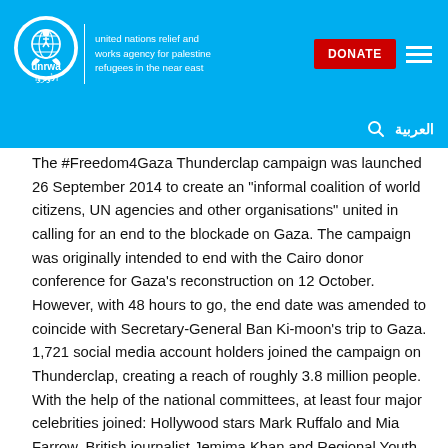UNRWA — united nations relief and works agency for palestine refugees in the near east
The #Freedom4Gaza Thunderclap campaign was launched 26 September 2014 to create an "informal coalition of world citizens, UN agencies and other organisations" united in calling for an end to the blockade on Gaza. The campaign was originally intended to end with the Cairo donor conference for Gaza's reconstruction on 12 October. However, with 48 hours to go, the end date was amended to coincide with Secretary-General Ban Ki-moon's trip to Gaza. 1,721 social media account holders joined the campaign on Thunderclap, creating a reach of roughly 3.8 million people. With the help of the national committees, at least four major celebrities joined: Hollywood stars Mark Ruffalo and Mia Farrow, British journalist Jemima Khan and Regional Youth Ambassador Mohammed Assaf. A video recorded by Assaf to promote the campaign garnered more than 10,000 views.